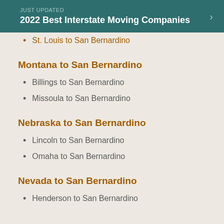JUST UPDATED
2022 Best Interstate Moving Companies
St. Louis to San Bernardino
Montana to San Bernardino
Billings to San Bernardino
Missoula to San Bernardino
Nebraska to San Bernardino
Lincoln to San Bernardino
Omaha to San Bernardino
Nevada to San Bernardino
Henderson to San Bernardino